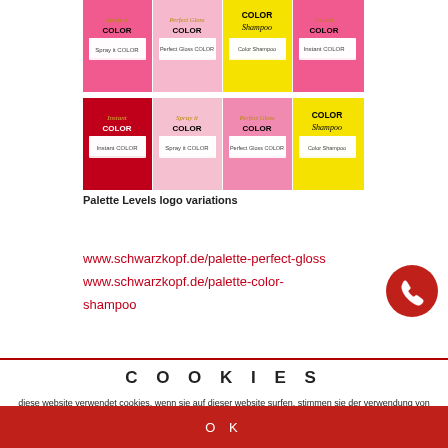[Figure (illustration): Grid of Palette hair color product logo variations: Spray it COLOR (pink), Perfect Gloss COLOR (pink), Color Shampoo (yellow), Instant COLOR (pink/red) — shown in two rows of four logos each on colored backgrounds.]
Palette Levels logo variations
www.schwarzkopf.de/palette-perfect-gloss
www.schwarzkopf.de/palette-color-shampoo
[Figure (illustration): Red circular phone/call button icon]
COOKIES
diese website verwendet cookies. wenn sie auf dieser website surfen, stimmen sie der verwendung von cookies zu. weitere Informationen zum einsatz von cookies in unserer website erhalten sie im impressum
OK